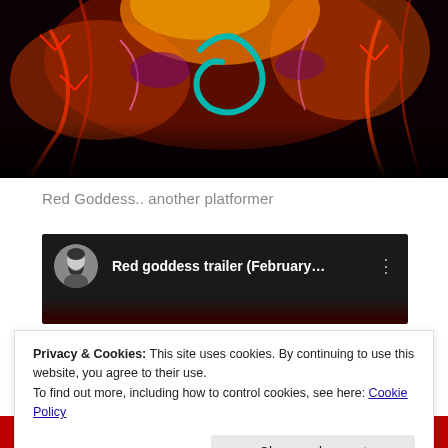[Figure (illustration): Dark fantasy game artwork showing glowing orange and red swirling shapes, thorn-like branches, and a teal spiral element against a black background.]
Red Goddess.. another platformer
[Figure (screenshot): YouTube video embed header showing a circular avatar of a bearded man in black and white, with the title 'Red goddess trailer (February...' and a three-dot menu icon on a dark background.]
Privacy & Cookies: This site uses cookies. By continuing to use this website, you agree to their use.
To find out more, including how to control cookies, see here: Cookie Policy
Close and accept